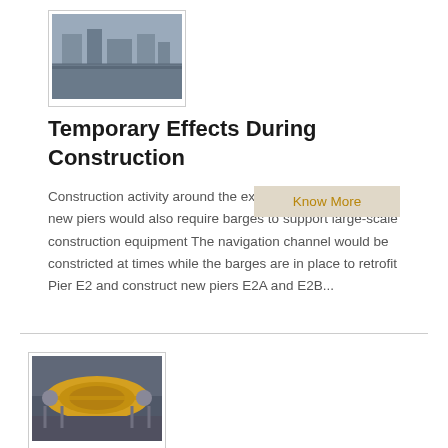[Figure (photo): Thumbnail photograph of construction equipment or industrial pier area, showing buildings and machinery in background]
Temporary Effects During Construction
Construction activity around the existing piers and for the new piers would also require barges to support large-scale construction equipment The navigation channel would be constricted at times while the barges are in place to retrofit Pier E2 and construct new piers E2A and E2B...
[Figure (photo): Thumbnail photograph of a yellow cylindrical marine vessel or submersible equipment on supports]
Houston Ship Channel marine